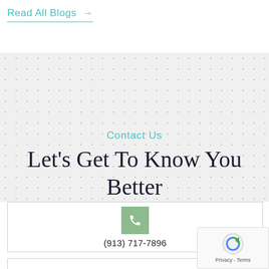Read All Blogs →
Contact Us
Let's Get To Know You Better
(913) 717-7896
[Figure (screenshot): reCAPTCHA badge with Privacy - Terms text]